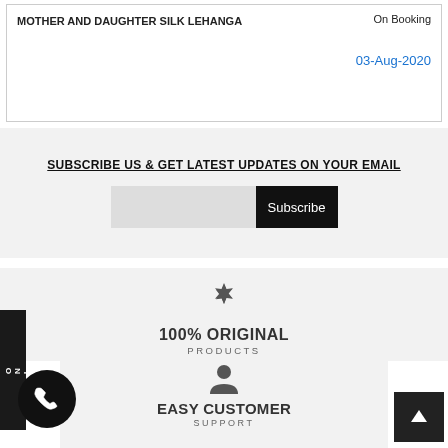| Product | Status | Date |
| --- | --- | --- |
| MOTHER AND DAUGHTER SILK LEHANGA | On Booking | 03-Aug-2020 |
SUBSCRIBE US & GET LATEST UPDATES ON YOUR EMAIL
Subscribe
[Figure (infographic): Starburst icon with '100% ORIGINAL' heading and 'PRODUCTS' subtext]
[Figure (infographic): Person/user icon with 'EASY CUSTOMER' heading and 'SUPPORT' subtext]
PAY ONLINE
[Figure (infographic): Phone call circular button icon]
[Figure (infographic): Up arrow square button]